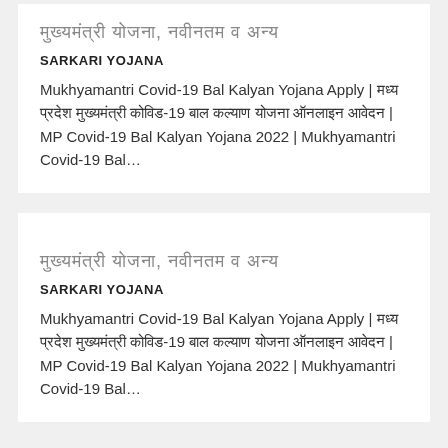मुख्यमंत्री योजना, नवीनतम व अन्य
SARKARI YOJANA
Mukhyamantri Covid-19 Bal Kalyan Yojana Apply | मध्य प्रदेश मुख्यमंत्री कोविड-19 बाल कल्याण योजना ऑनलाइन आवेदन | MP Covid-19 Bal Kalyan Yojana 2022 | Mukhyamantri Covid-19 Bal…
मुख्यमंत्री योजना, नवीनतम व अन्य
SARKARI YOJANA
Mukhyamantri Covid-19 Bal Kalyan Yojana Apply | मध्य प्रदेश मुख्यमंत्री कोविड-19 बाल कल्याण योजना ऑनलाइन आवेदन | MP Covid-19 Bal Kalyan Yojana 2022 | Mukhyamantri Covid-19 Bal…